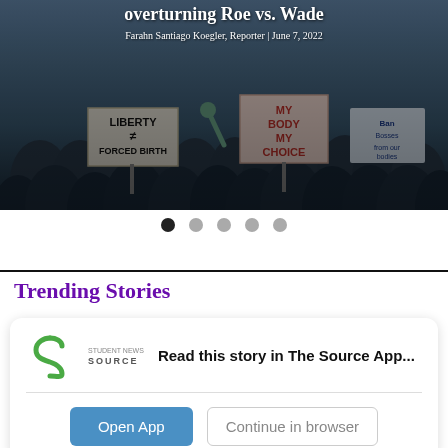[Figure (photo): Protest crowd scene with people holding signs including 'LIBERTY ≠ FORCED BIRTH' and 'MY BODY MY CHOICE' against an outdoor background with a dark blue-grey sky overlay]
overturning Roe vs. Wade
Farahn Santiago Koegler, Reporter | June 7, 2022
Carousel navigation dots (5 dots, first active)
Trending Stories
Read this story in The Source App...
Open App
Continue in browser